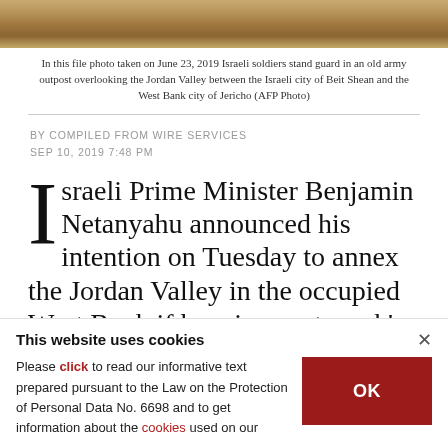[Figure (photo): Dry grassy/sandy landscape photo strip at top of page]
In this file photo taken on June 23, 2019 Israeli soldiers stand guard in an old army outpost overlooking the Jordan Valley between the Israeli city of Beit Shean and the West Bank city of Jericho (AFP Photo)
BY COMPILED FROM WIRE SERVICES
SEP 10, 2019 7:48 PM
Israeli Prime Minister Benjamin Netanyahu announced his intention on Tuesday to annex the Jordan Valley in the occupied West Bank if he wins next week's general election.
This website uses cookies
Please click to read our informative text prepared pursuant to the Law on the Protection of Personal Data No. 6698 and to get information about the cookies used on our